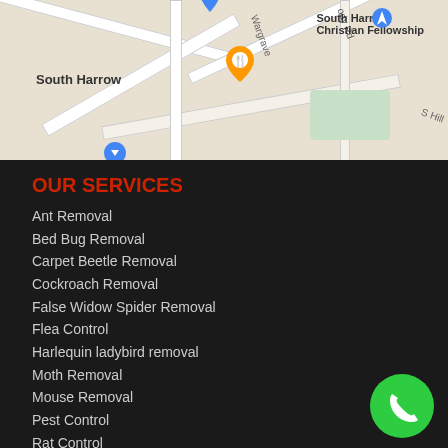[Figure (map): Google Maps screenshot showing South Harrow area with street map, pins for South Harrow and South Harrow Christian Fellowship locations]
OUR SERVICES
Ant Removal
Bed Bug Removal
Carpet Beetle Removal
Cockroach Removal
False Widow Spider Removal
Flea Control
Harlequin ladybird removal
Moth Removal
Mouse Removal
Pest Control
Rat Control
Spider removal
Squirrel Removal
Wasp Nest Removal